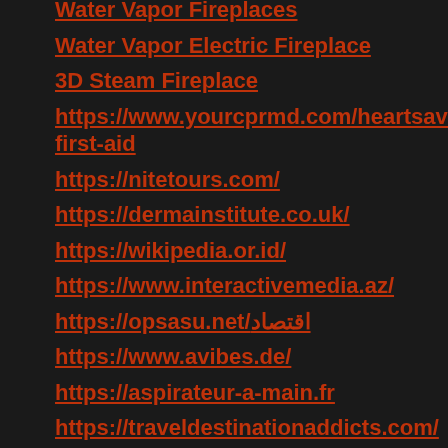Water Vapor Fireplaces
Water Vapor Electric Fireplace
3D Steam Fireplace
https://www.yourcprmd.com/heartsaver-first-aid
https://nitetours.com/
https://dermainstitute.co.uk/
https://wikipedia.or.id/
https://www.interactivemedia.az/
https://opsasu.net/اقتصاد
https://www.avibes.de/
https://aspirateur-a-main.fr
https://traveldestinationaddicts.com/
https://safeplayground.net/
https://safe-kim.com/
https://1-news.net/